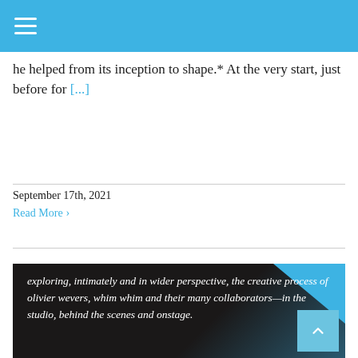☰
he helped from its inception to shape.* At the very start, just before for [...]
September 17th, 2021
Read More ›
[Figure (photo): Dark background image with teal geometric corner accent and white italic text reading: exploring, intimately and in wider perspective, the creative process of olivier wevers, whim whim and their many collaborators—in the studio, behind the scenes and onstage.]
exploring, intimately and in wider perspective, the creative process of olivier wevers, whim whim and their many collaborators—in the studio, behind the scenes and onstage.